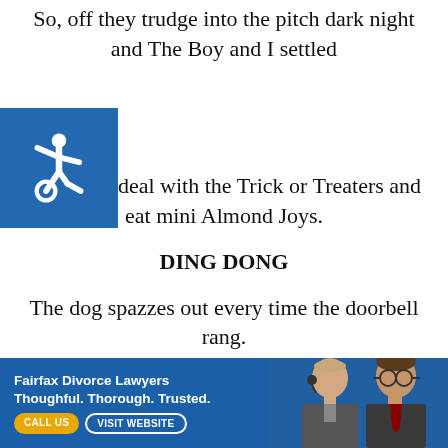So, off they trudge into the pitch dark night and The Boy and I settled
[Figure (logo): Accessibility wheelchair icon — blue square background with white wheelchair symbol]
he sofa to deal with the Trick or Treaters and eat mini Almond Joys.
DING DONG
The dog spazzes out every time the doorbell rang.
What is it with dogs and doorbells?
It's just a doorbell you dumb dog!
The doorbell rang over and over and she spazzed every time.
DING DONG
[Figure (photo): Advertisement banner for Fairfax Divorce Lawyers — blue background with text 'Fairfax Divorce Lawyers Thoughful. Thorough. Trusted.' and two buttons 'CALL US' and 'VISIT WEBSITE', with photos of two men in suits]